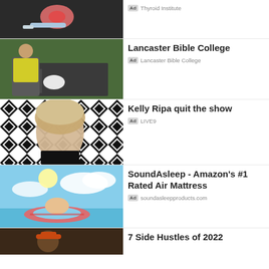[Figure (photo): Thyroid institute ad image - dark background with thyroid illustration and device]
Ad  Thyroid Institute
[Figure (photo): Lancaster Bible College ad - man in yellow safety vest holding tablet near truck]
Lancaster Bible College
Ad  Lancaster Bible College
[Figure (photo): Kelly Ripa quit the show ad - woman with blonde hair in front of black and white diamond pattern]
Kelly Ripa quit the show
Ad  LIVE9
[Figure (photo): SoundAsleep air mattress ad - woman lounging on inflatable in water]
SoundAsleep - Amazon's #1 Rated Air Mattress
Ad  soundasleepproducts.com
[Figure (photo): 7 Side Hustles ad - person wearing hat]
7 Side Hustles of 2022